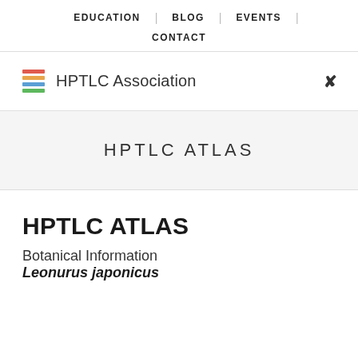EDUCATION | BLOG | EVENTS | CONTACT
[Figure (logo): HPTLC Association logo with colored horizontal stripes (red, orange, blue, green) followed by text 'HPTLC Association']
HPTLC ATLAS
HPTLC ATLAS
Botanical Information
Leonurus japonicus